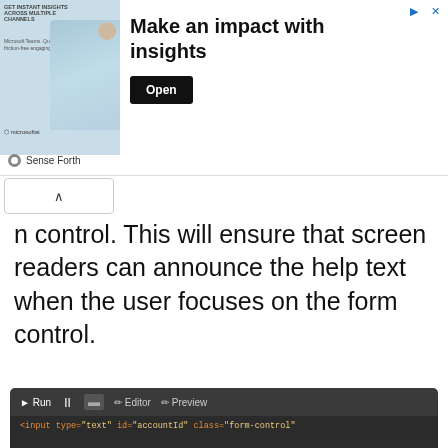[Figure (screenshot): Advertisement banner: 'Make an impact with insights' with an Open button, Sense Forth branding, and a photo of a person with icons for Teams/Microsoft.]
n control. This will ensure that screen readers can announce the help text when the user focuses on the form control.
[Figure (screenshot): Code editor panel showing HTML: <label for='accountId'>Account Id</label>, <input type='text' id='accountId' class='form-control' aria-describedby='helpAccountId'>, <span id='helpAccountId' class='help-block'>Your account ID is located at the top of your invoice.</span>. Below is a preview showing 'Account Id' label, a text input, and helper text 'Your account ID is located at the top of your invoice.']